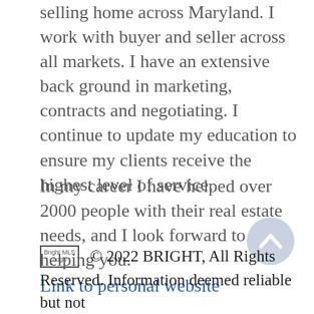selling home across Maryland. I work with buyer and seller across all markets. I have an extensive back ground in marketing, contracts and negotiating. I continue to update my education to ensure my clients receive the highest level of service.
In my career I have helped over 2000 people with their real estate needs, and I look forward to helping you.
Link to personal website
[Figure (other): Circular scroll-to-top button with an upward chevron arrow, light blue-grey color]
Bright MLS Logo  © 2022 BRIGHT, All Rights Reserved. Information deemed reliable but not